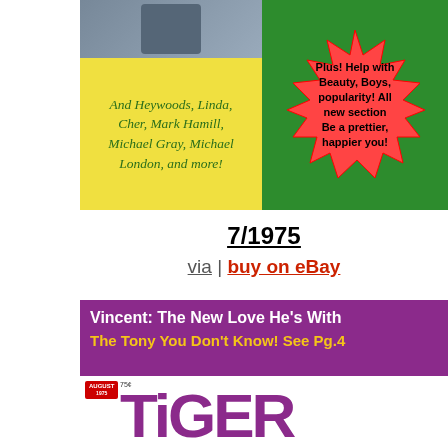[Figure (photo): Top portion of a Tiger Beat teen magazine cover from July 1975, showing a yellow panel with italic green text listing celebrity names (And Heywoods, Linda, Cher, Mark Hamill, Michael Gray, Michael London, and more!) and a green starburst panel with text about Beauty, Boys, popularity and a beauty section.]
7/1975
via | buy on eBay
[Figure (photo): Bottom portion showing a Tiger Beat magazine cover from August 1975 with purple background, white bold headline 'Vincent: The New Love He's With' and yellow text 'The Tony You Don't Know! See Pg.4', plus the Tiger Beat logo in large purple letters on white background.]